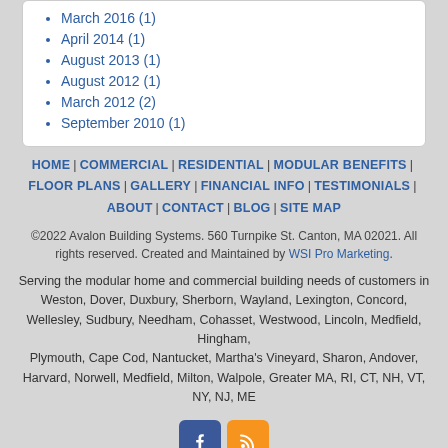March 2016 (1)
April 2014 (1)
August 2013 (1)
August 2012 (1)
March 2012 (2)
September 2010 (1)
HOME | COMMERCIAL | RESIDENTIAL | MODULAR BENEFITS | FLOOR PLANS | GALLERY | FINANCIAL INFO | TESTIMONIALS | ABOUT | CONTACT | BLOG | SITE MAP
©2022 Avalon Building Systems. 560 Turnpike St. Canton, MA 02021. All rights reserved. Created and Maintained by WSI Pro Marketing.
Serving the modular home and commercial building needs of customers in Weston, Dover, Duxbury, Sherborn, Wayland, Lexington, Concord, Wellesley, Sudbury, Needham, Cohasset, Westwood, Lincoln, Medfield, Hingham, Plymouth, Cape Cod, Nantucket, Martha's Vineyard, Sharon, Andover, Harvard, Norwell, Medfield, Milton, Walpole, Greater MA, RI, CT, NH, VT, NY, NJ, ME
[Figure (logo): Facebook icon (blue square with white F) and RSS feed icon (orange square with white RSS symbol)]